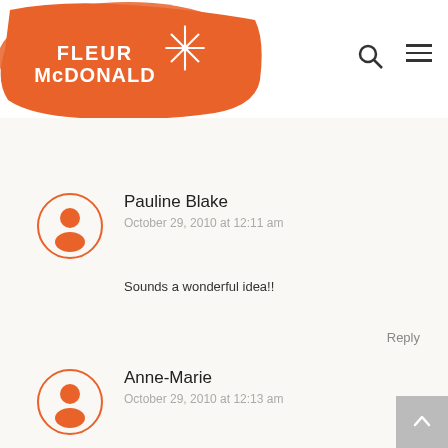Fleur McDonald
No Comments
Pauline Blake
October 29, 2010 at 12:11 am
Sounds a wonderful idea!!
Reply
Anne-Marie
October 29, 2010 at 12:13 am